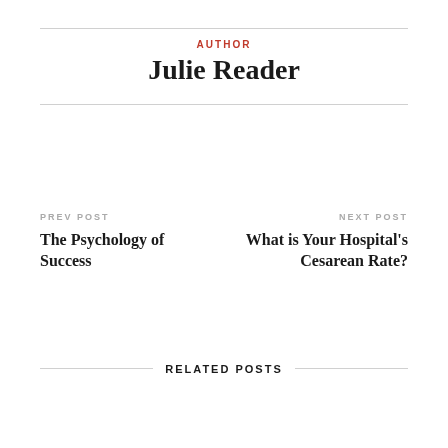AUTHOR
Julie Reader
PREV POST
The Psychology of Success
NEXT POST
What is Your Hospital's Cesarean Rate?
RELATED POSTS